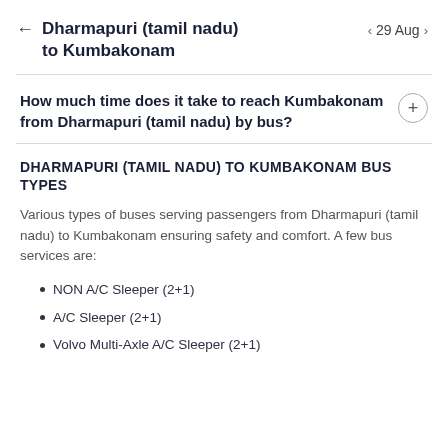Dharmapuri (tamil nadu) to Kumbakonam  29 Aug
How much time does it take to reach Kumbakonam from Dharmapuri (tamil nadu) by bus?
DHARMAPURI (TAMIL NADU) TO KUMBAKONAM BUS TYPES
Various types of buses serving passengers from Dharmapuri (tamil nadu) to Kumbakonam ensuring safety and comfort. A few bus services are:
NON A/C Sleeper (2+1)
A/C Sleeper (2+1)
Volvo Multi-Axle A/C Sleeper (2+1)